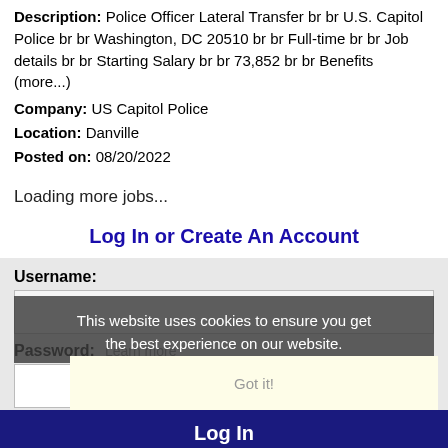Description: Police Officer Lateral Transfer br br U.S. Capitol Police br br Washington, DC 20510 br br Full-time br br Job details br br Starting Salary br br 73,852 br br Benefits (more...)
Company: US Capitol Police
Location: Danville
Posted on: 08/20/2022
Loading more jobs...
Log In or Create An Account
Username:
This website uses cookies to ensure you get the best experience on our website.
Password:
Learn more
Got it!
Log In